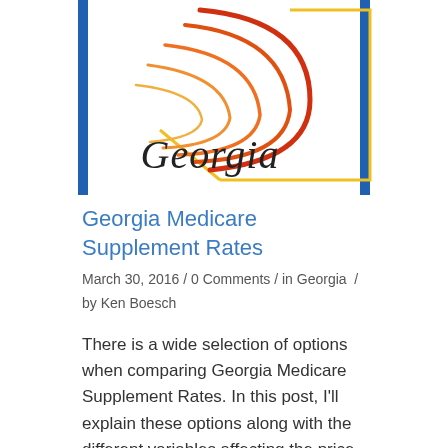[Figure (logo): Georgia state logo with swirling orange and red lines over a yellow outlined shape, with 'Georgia' written in cursive script, framed by blue vertical bars on left and right]
Georgia Medicare Supplement Rates
March 30, 2016 / 0 Comments / in Georgia / by Ken Boesch
There is a wide selection of options when comparing Georgia Medicare Supplement Rates. In this post, I'll explain these options along with the different variables affecting the price of Medigap Plans in Georgia.
Read more ›